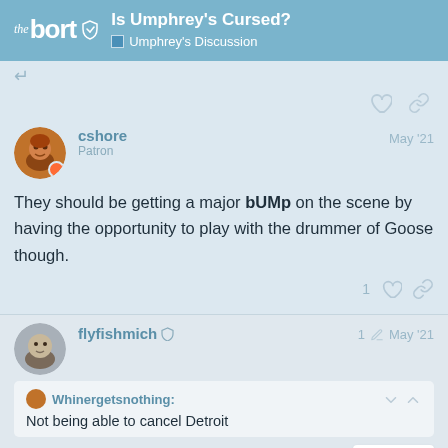Is Umphrey's Cursed? | Umphrey's Discussion — the bort
They should be getting a major bUMp on the scene by having the opportunity to play with the drummer of Goose though.
cshore — Patron — May '21
flyfishmich — 1 edit — May '21
Whinergetsnothing: Not being able to cancel Detroit
3 / 31